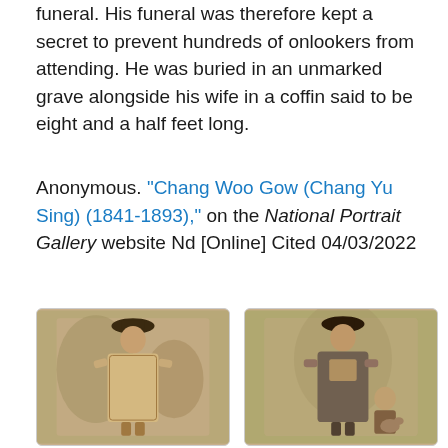funeral. His funeral was therefore kept a secret to prevent hundreds of onlookers from attending. He was buried in an unmarked grave alongside his wife in a coffin said to be eight and a half feet long.
Anonymous. "Chang Woo Gow (Chang Yu Sing) (1841-1893)," on the National Portrait Gallery website Nd [Online] Cited 04/03/2022
[Figure (photo): Two sepia-toned historical photographs side by side. Left photo shows a very tall man in traditional Chinese robes and hat standing with hand on hip. Right photo shows the same tall man in traditional Chinese robes and hat standing next to a much shorter man who is seated.]